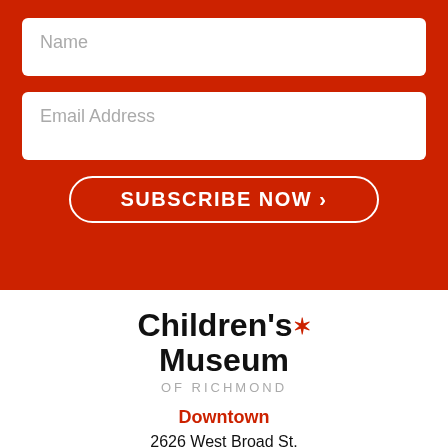Name
Email Address
SUBSCRIBE NOW >
[Figure (logo): Children's Museum of Richmond logo with red puzzle piece icon, bold black text reading Children's Museum, and light gray text reading OF RICHMOND]
Downtown
2626 West Broad St.
Richmond, VA 23220